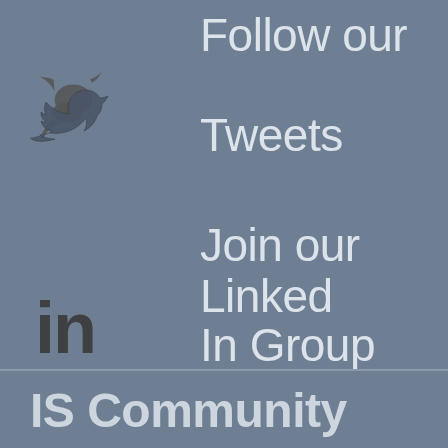[Figure (logo): Twitter bird logo icon, dark gray outline style]
Follow our Tweets
[Figure (logo): LinkedIn 'in' logo icon, dark gray style]
Join our Linked In Group
IS Community